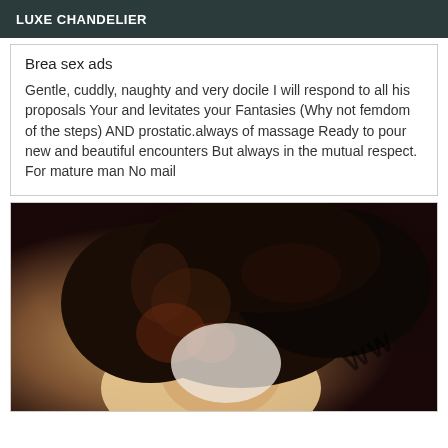LUXE CHANDELIER
Brea sex ads
Gentle, cuddly, naughty and very docile I will respond to all his proposals Your and levitates your Fantasies (Why not femdom of the steps) AND prostatic.always of massage Ready to pour new and beautiful encounters But always in the mutual respect. For mature man No mail
[Figure (photo): Close-up black and white/color photo of a person with dark curly hair, with a watermark visible on the right side]